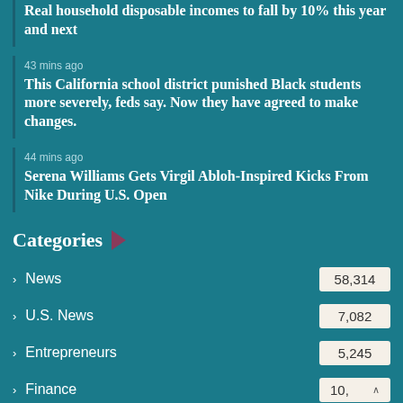Real household disposable incomes to fall by 10% this year and next
43 mins ago
This California school district punished Black students more severely, feds say. Now they have agreed to make changes.
44 mins ago
Serena Williams Gets Virgil Abloh-Inspired Kicks From Nike During U.S. Open
Categories
News 58,314
U.S. News 7,082
Entrepreneurs 5,245
Finance 10,
Stock Market 3,141
Banking 2,019